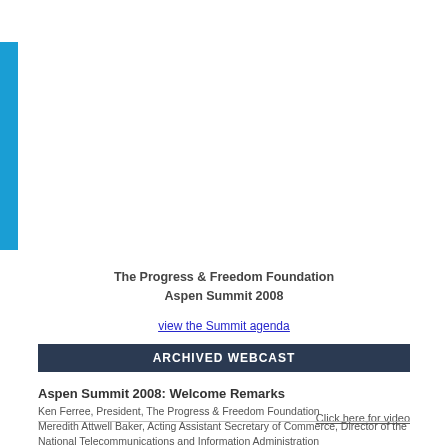[Figure (other): Blue vertical bar on left side of page, decorative design element]
The Progress & Freedom Foundation
Aspen Summit 2008
view the Summit agenda
ARCHIVED WEBCAST
Aspen Summit 2008: Welcome Remarks
Ken Ferree, President, The Progress & Freedom Foundation
Meredith Attwell Baker, Acting Assistant Secretary of Commerce, Director of the National Telecommunications and Information Administration
Click here for video